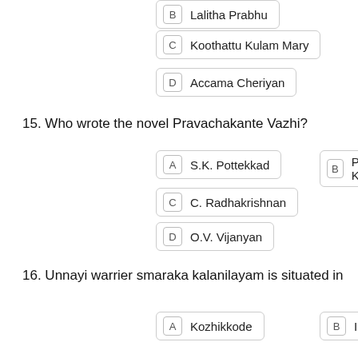B  Lalitha Prabhu
C  Koothattu Kulam Mary
D  Accama Cheriyan
15. Who wrote the novel Pravachakante Vazhi?
A  S.K. Pottekkad
B  P. Kesavadev
C  C. Radhakrishnan
D  O.V. Vijanyan
16. Unnayi warrier smaraka kalanilayam is situated in
A  Kozhikkode
B  Irinjalakkuda